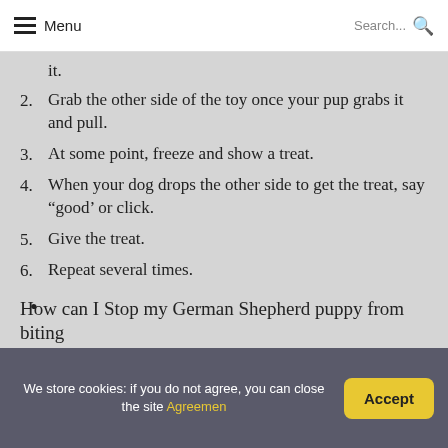Menu   Search...
it.
2. Grab the other side of the toy once your pup grabs it and pull.
3. At some point, freeze and show a treat.
4. When your dog drops the other side to get the treat, say “good’ or click.
5. Give the treat.
6. Repeat several times.
•
How can I Stop my German Shepherd puppy from biting
We store cookies: if you do not agree, you can close the site Agreemen
Accept